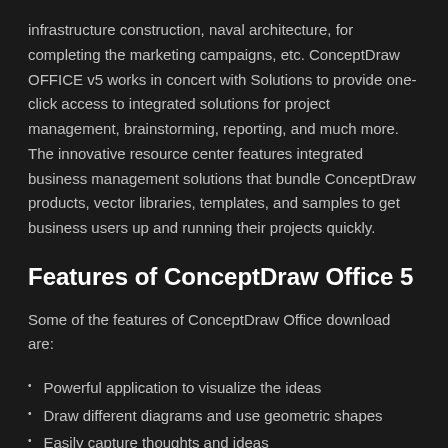infrastructure construction, naval architecture, for completing the marketing campaigns, etc. ConceptDraw OFFICE v5 works in concert with Solutions to provide one-click access to integrated solutions for project management, brainstorming, reporting, and much more. The innovative resource center features integrated business management solutions that bundle ConceptDraw products, vector libraries, templates, and samples to get business users up and running their projects quickly.
Features of ConceptDraw Office 5
Some of the features of ConceptDraw Office download are:
Powerful application to visualize the ideas
Draw different diagrams and use geometric shapes
Easily capture thoughts and ideas
Generate interactive presentations using live objects